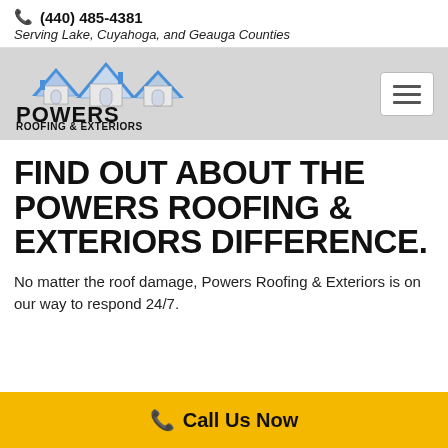(440) 485-4381 Serving Lake, Cuyahoga, and Geauga Counties
[Figure (logo): Powers Roofing & Exteriors logo with house/roof icon in blue and grey and company name in bold black text]
FIND OUT ABOUT THE POWERS ROOFING & EXTERIORS DIFFERENCE.
No matter the roof damage, Powers Roofing & Exteriors is on our way to respond 24/7.
Call Us Now